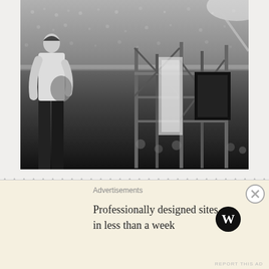[Figure (photo): Black and white concert photograph showing a performer on stage left playing guitar, with a large crowd visible in the background stands, and stage equipment/scaffolding visible on the right side of the stage.]
RECENT POSTS
[Figure (infographic): WordPress advertisement banner with text 'Professionally designed sites in less than a week' and WordPress logo on right. Label 'Advertisements' at top. Close button (X) in top right corner. 'REPORT THIS AD' text at bottom right.]